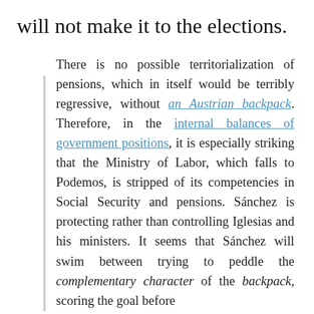will not make it to the elections.
There is no possible territorialization of pensions, which in itself would be terribly regressive, without an Austrian backpack. Therefore, in the internal balances of government positions, it is especially striking that the Ministry of Labor, which falls to Podemos, is stripped of its competencies in Social Security and pensions. Sánchez is protecting rather than controlling Iglesias and his ministers. It seems that Sánchez will swim between trying to peddle the complementary character of the backpack, scoring the goal before the backpack and the EU, adding in the